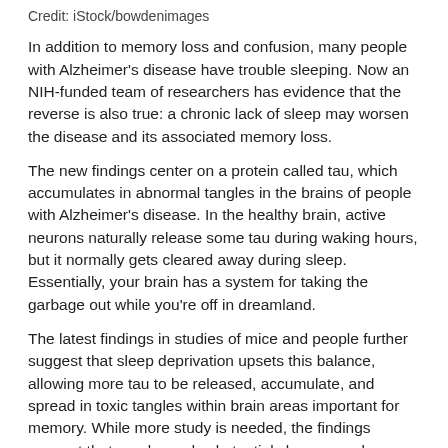Credit: iStock/bowdenimages
In addition to memory loss and confusion, many people with Alzheimer's disease have trouble sleeping. Now an NIH-funded team of researchers has evidence that the reverse is also true: a chronic lack of sleep may worsen the disease and its associated memory loss.
The new findings center on a protein called tau, which accumulates in abnormal tangles in the brains of people with Alzheimer's disease. In the healthy brain, active neurons naturally release some tau during waking hours, but it normally gets cleared away during sleep. Essentially, your brain has a system for taking the garbage out while you're off in dreamland.
The latest findings in studies of mice and people further suggest that sleep deprivation upsets this balance, allowing more tau to be released, accumulate, and spread in toxic tangles within brain areas important for memory. While more study is needed, the findings suggest that regular and substantial sleep may play an unexpectedly important role in helping to delay or slow down Alzheimer's disease.